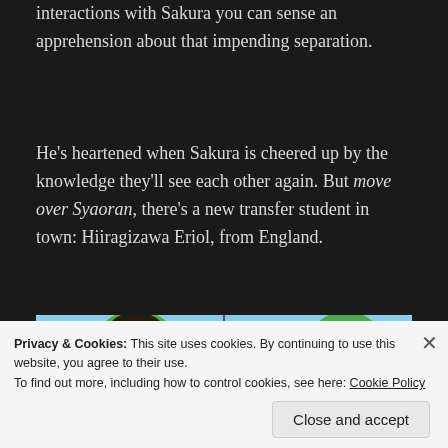interactions with Sakura you can sense an apprehension about that impending separation.
He's heartened when Sakura is cheered up by the knowledge they'll see each other again. But move over Syaoran, there's a new transfer student in town: Hiiragizawa Eriol, from England.
[Figure (illustration): Anime scene split into two panels: left panel shows characters in school uniform from behind near trees; right panel shows Sakura and other characters in an outdoor school setting with trees and sky in background.]
Privacy & Cookies: This site uses cookies. By continuing to use this website, you agree to their use.
To find out more, including how to control cookies, see here: Cookie Policy
Close and accept